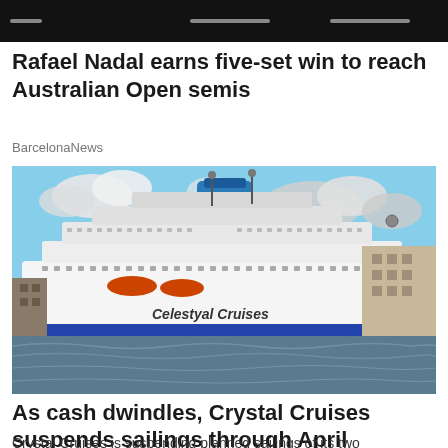[Figure (photo): Dark header image strip at top of news app page]
Rafael Nadal earns five-set win to reach Australian Open semis
BarcelonaNews
[Figure (photo): Celestyal Cruises ship docked at port, large white cruise liner with blue funnel]
As cash dwindles, Crystal Cruises suspends sailings through April
Crystal Cruises is suspending planned sailings of its two